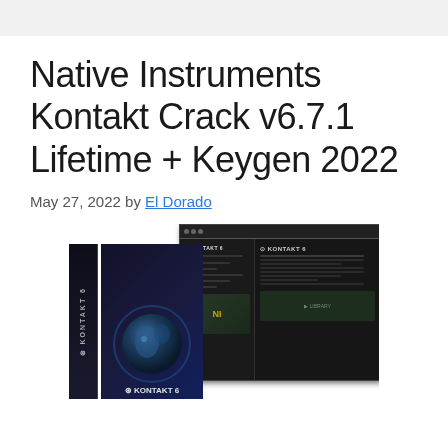Native Instruments Kontakt Crack v6.7.1 Lifetime + Keygen 2022
May 27, 2022 by El Dorado
[Figure (photo): Screenshot of Native Instruments Kontakt 6 software box and application interface window on dark background]